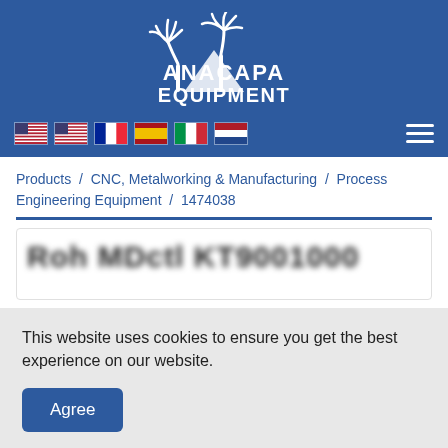[Figure (logo): Anacapa Equipment logo — palm trees and mountain silhouette above the text ANACAPA EQUIPMENT in white on a blue background]
[Figure (infographic): Navigation row with six country flag icons (US, US, France, Spain, Italy, Netherlands) on the left and a hamburger menu icon on the right, on a blue background]
Products / CNC, Metalworking & Manufacturing / Process Engineering Equipment / 1474038
This website uses cookies to ensure you get the best experience on our website.